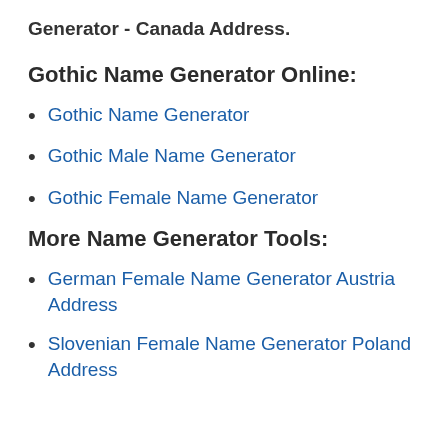Generator - Canada Address.
Gothic Name Generator Online:
Gothic Name Generator
Gothic Male Name Generator
Gothic Female Name Generator
More Name Generator Tools:
German Female Name Generator Austria Address
Slovenian Female Name Generator Poland Address